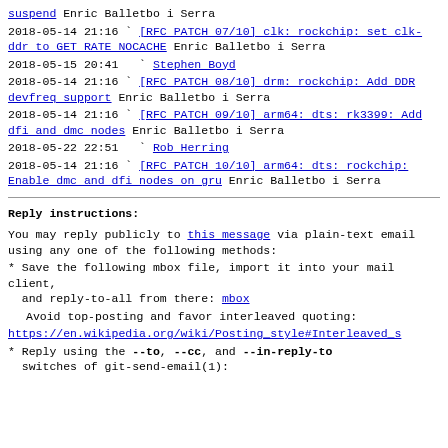suspend Enric Balletbo i Serra
2018-05-14 21:16 ` [RFC PATCH 07/10] clk: rockchip: set clk-ddr to GET RATE NOCACHE Enric Balletbo i Serra
2018-05-15 20:41   ` Stephen Boyd
2018-05-14 21:16 ` [RFC PATCH 08/10] drm: rockchip: Add DDR devfreq support Enric Balletbo i Serra
2018-05-14 21:16 ` [RFC PATCH 09/10] arm64: dts: rk3399: Add dfi and dmc nodes Enric Balletbo i Serra
2018-05-22 22:51   ` Rob Herring
2018-05-14 21:16 ` [RFC PATCH 10/10] arm64: dts: rockchip: Enable dmc and dfi nodes on gru Enric Balletbo i Serra
Reply instructions:
You may reply publicly to this message via plain-text email
using any one of the following methods:
* Save the following mbox file, import it into your mail client,
  and reply-to-all from there: mbox
Avoid top-posting and favor interleaved quoting:
https://en.wikipedia.org/wiki/Posting_style#Interleaved_s
* Reply using the --to, --cc, and --in-reply-to switches of git-send-email(1):